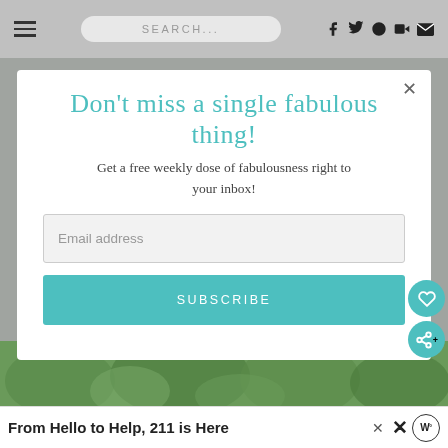SEARCH...
Don't miss a single fabulous thing!
Get a free weekly dose of fabulousness right to your inbox!
Email address
SUBSCRIBE
[Figure (screenshot): Nature/garden image strip at bottom of page behind modal]
From Hello to Help, 211 is Here